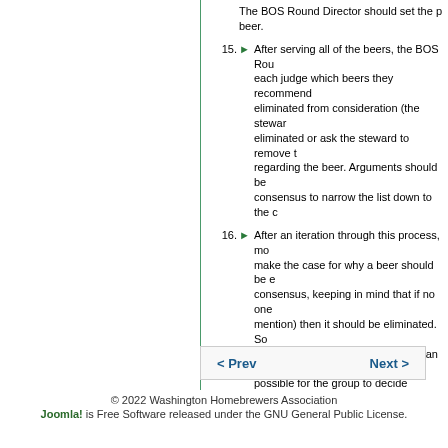The BOS Round Director should set the pace for the beer.
15. After serving all of the beers, the BOS Round Director asks each judge which beers they recommend keeping or being eliminated from consideration (the steward will note beers eliminated or ask the steward to remove the score sheets regarding the beer. Arguments should be made by consensus to narrow the list down to the c...
16. After an iteration through this process, more judges can make the case for why a beer should be eliminated by consensus, keeping in mind that if no one (mention) then it should be eliminated. Someone on the winning beer then that one can be selected, possible for the group to decide verbally on the BOS Round Director to the Competitio...
17. When a stalemate arises between judges, they should be placed. The BOS Round Director nothing saying that the judges need to accommodate positions for the entries. Judges will often and should be placed higher, and this discussion order. If agreement can't be reached, then accept those rankings. Ties can be discussed between the tied beers. In the event of a final decision, the ranking should be announced...
© 2022 Washington Homebrewers Association
Joomla! is Free Software released under the GNU General Public License.